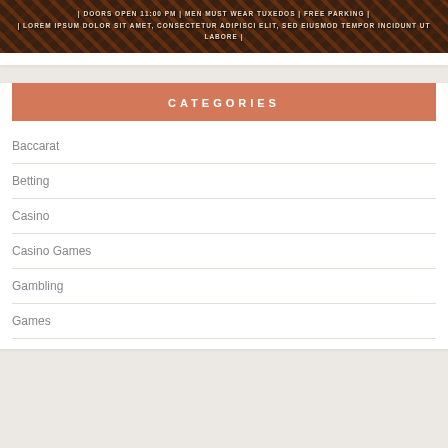[Figure (photo): Dark patterned banner with text: DOORS OPEN 11:00 PM | MEN MUST WEAR TUXEDOS | FREE PARKING | LOREM IPSUM DOLOR SIT AMET, CONSECTETUR ADIPISCI ELIT, SED EIUSMOD TEMPOR INCIDUNT UT LABORE]
CATEGORIES
Baccarat
Betting
Casino
Casino Games
Gambling
Games